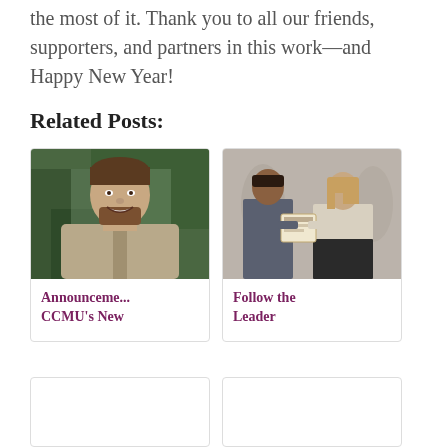the most of it. Thank you to all our friends, supporters, and partners in this work—and Happy New Year!
Related Posts:
[Figure (photo): Headshot of a smiling man with beard, outdoors near trees]
Announceme... CCMU's New
[Figure (photo): Two people at an event, one receiving an award/certificate from the other]
Follow the Leader
[Figure (photo): Empty card placeholder bottom left]
[Figure (photo): Empty card placeholder bottom right]